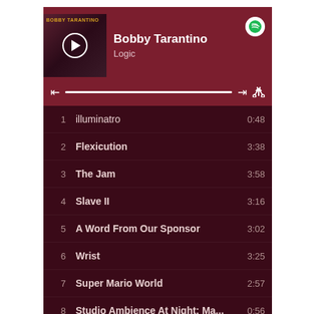[Figure (screenshot): Spotify app showing Bobby Tarantino album by Logic with album art, playback controls, and tracklist]
1  illuminatro  0:48
2  Flexicution  3:38
3  The Jam  3:58
4  Slave II  3:16
5  A Word From Our Sponsor  3:02
6  Wrist  3:25
7  Super Mario World  2:57
8  Studio Ambience At Night: Ma...  0:56
9  44 Bars  3:02
10  Slave  2:59